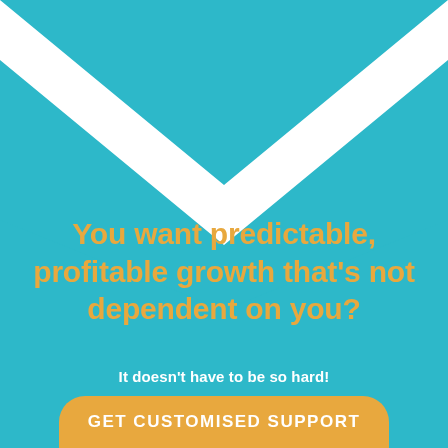[Figure (illustration): Teal/cyan background with a white chevron/arrow shape pointing downward at the top of the page, forming an inverted V or envelope shape against the teal background.]
You want predictable, profitable growth that's not dependent on you?
It doesn't have to be so hard!
GET CUSTOMISED SUPPORT